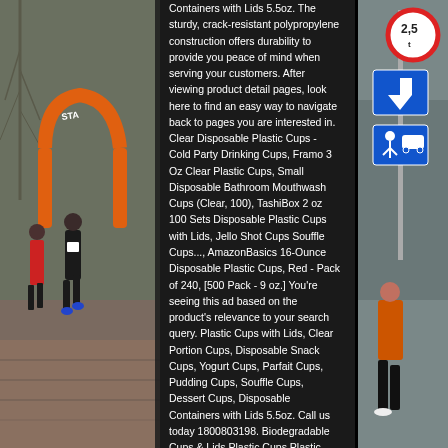[Figure (photo): Left third: outdoor marathon race scene with runners in dark athletic wear, orange inflatable START arch visible on left side, bare winter trees in background, brick/cobblestone pavement.]
Containers with Lids 5.5oz. The sturdy, crack-resistant polypropylene construction offers durability to provide you peace of mind when serving your customers. After viewing product detail pages, look here to find an easy way to navigate back to pages you are interested in. Clear Disposable Plastic Cups - Cold Party Drinking Cups, Framo 3 Oz Clear Plastic Cups, Small Disposable Bathroom Mouthwash Cups (Clear, 100), TashiBox 2 oz 100 Sets Disposable Plastic Cups with Lids, Jello Shot Cups Souffle Cups..., AmazonBasics 16-Ounce Disposable Plastic Cups, Red - Pack of 240, [500 Pack - 9 oz.] You're seeing this ad based on the product's relevance to your search query. Plastic Cups with Lids, Clear Portion Cups, Disposable Snack Cups, Yogurt Cups, Parfait Cups, Pudding Cups, Souffle Cups, Dessert Cups, Disposable Containers with Lids 5.5oz. Call us today 1800803198. Biodegradable Cups & Lids Plastic Cups Plastic Lids for Coffee Cups
[Figure (photo): Right third: European road signs on poles including a red circular speed limit sign showing 2.5t, a blue directional arrow sign pointing up, and blue pedestrian/vehicle warning signs. A man in orange vest and black shorts visible in the foreground.]